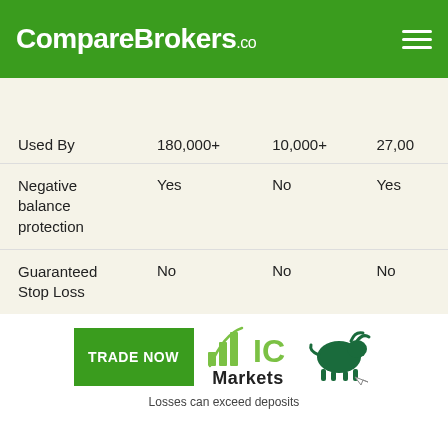CompareBrokers.co
|  |  |  |  |
| --- | --- | --- | --- |
| Used By | 180,000+ | 10,000+ | 27,00 |
| Negative balance protection | Yes | No | Yes |
| Guaranteed Stop Loss | No | No | No |
[Figure (logo): IC Markets logo with bar chart icon and green bull graphic, TRADE NOW button, text: Losses can exceed deposits]